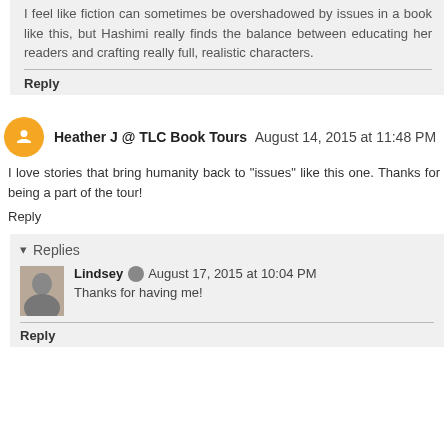I feel like fiction can sometimes be overshadowed by issues in a book like this, but Hashimi really finds the balance between educating her readers and crafting really full, realistic characters.
Reply
Heather J @ TLC Book Tours August 14, 2015 at 11:48 PM
I love stories that bring humanity back to "issues" like this one. Thanks for being a part of the tour!
Reply
Replies
Lindsey August 17, 2015 at 10:04 PM
Thanks for having me!
Reply